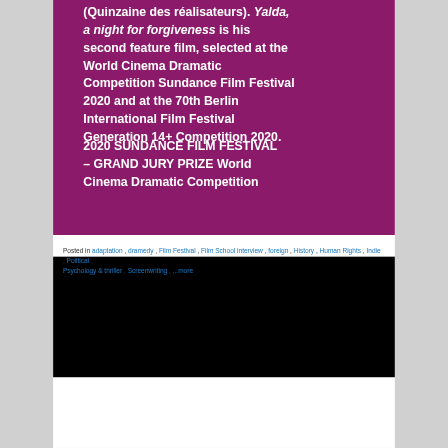(Quinzaine des réalisateurs). Yalda, a night for forgiveness is his second feature film, selected at the World Cinema Dramatic Competition Sundance Film Festival 2020 and at the 70th Berlin International Film Festival Generation 14+ Competition 2020.
2020 SUNDANCE FILM FESTIVAL – GRAND JURY PRIZE World Cinema Dramatic Competition
Posted in adaptation, dramedy, Film Festival, Film School interview, foreign, History, Human Rights, Indie, Political,